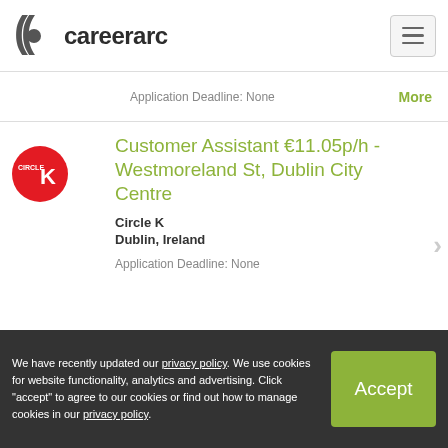careerarc
Application Deadline: None  More
Customer Assistant €11.05p/h - Westmoreland St, Dublin City Centre
Circle K
Dublin, Ireland
Application Deadline: None
Deli Assistant €11.05p/h - Fonthill Retail Park, Dublin 22
Circle K
We have recently updated our privacy policy. We use cookies for website functionality, analytics and advertising. Click "accept" to agree to our cookies or find out how to manage cookies in our privacy policy.